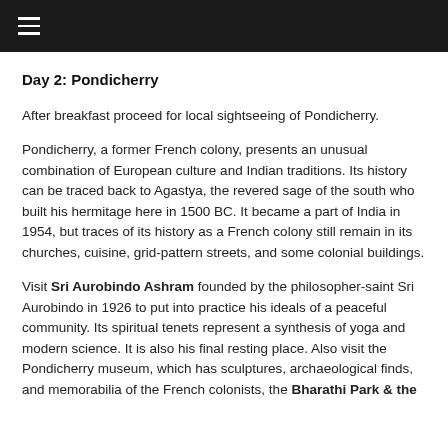≡
Day 2: Pondicherry
After breakfast proceed for local sightseeing of Pondicherry.
Pondicherry, a former French colony, presents an unusual combination of European culture and Indian traditions. Its history can be traced back to Agastya, the revered sage of the south who built his hermitage here in 1500 BC. It became a part of India in 1954, but traces of its history as a French colony still remain in its churches, cuisine, grid-pattern streets, and some colonial buildings.
Visit Sri Aurobindo Ashram founded by the philosopher-saint Sri Aurobindo in 1926 to put into practice his ideals of a peaceful community. Its spiritual tenets represent a synthesis of yoga and modern science. It is also his final resting place. Also visit the Pondicherry museum, which has sculptures, archaeological finds, and memorabilia of the French colonists, the Bharathi Park & the